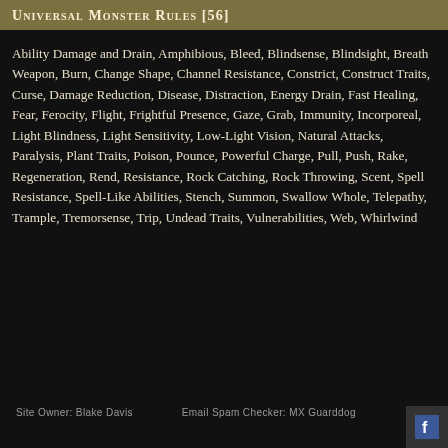Universal Monster Rules [56]
Ability Damage and Drain, Amphibious, Bleed, Blindsense, Blindsight, Breath Weapon, Burn, Change Shape, Channel Resistance, Constrict, Construct Traits, Curse, Damage Reduction, Disease, Distraction, Energy Drain, Fast Healing, Fear, Ferocity, Flight, Frightful Presence, Gaze, Grab, Immunity, Incorporeal, Light Blindness, Light Sensitivity, Low-Light Vision, Natural Attacks, Paralysis, Plant Traits, Poison, Pounce, Powerful Charge, Pull, Push, Rake, Regeneration, Rend, Resistance, Rock Catching, Rock Throwing, Scent, Spell Resistance, Spell-Like Abilities, Stench, Summon, Swallow Whole, Telepathy, Trample, Tremorsense, Trip, Undead Traits, Vulnerabilities, Web, Whirlwind
Site Owner: Blake Davis   Email Spam Checker: MX Guarddog